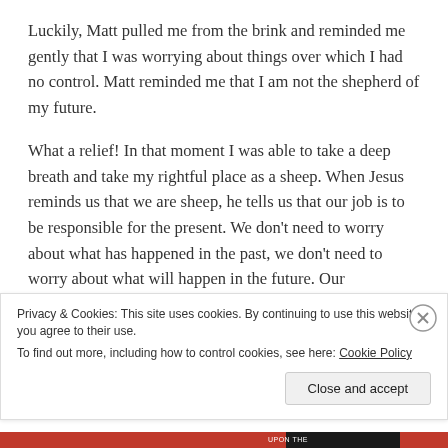Luckily, Matt pulled me from the brink and reminded me gently that I was worrying about things over which I had no control.  Matt reminded me that I am not the shepherd of my future.
What a relief!  In that moment I was able to take a deep breath and take my rightful place as a sheep.  When Jesus reminds us that we are sheep, he tells us that our job is to be responsible for the present.  We don't need to worry about what has happened in the past, we don't need to worry about what will happen in the future.  Our
Privacy & Cookies: This site uses cookies. By continuing to use this website, you agree to their use.
To find out more, including how to control cookies, see here: Cookie Policy
Close and accept